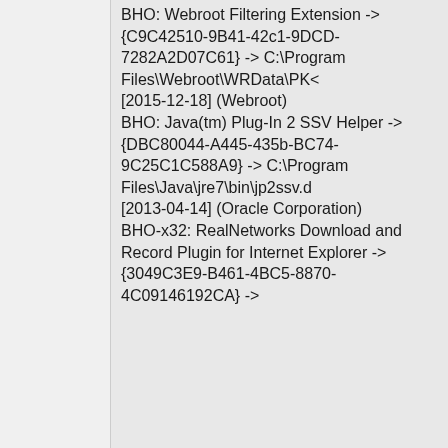BHO: Webroot Filtering Extension -> {C9C42510-9B41-42c1-9DCD-7282A2D07C61} -> C:\Program Files\Webroot\WRData\PKC [2015-12-18] (Webroot) BHO: Java(tm) Plug-In 2 SSV Helper -> {DBC80044-A445-435b-BC74-9C25C1C588A9} -> C:\Program Files\Java\jre7\bin\jp2ssv.d [2013-04-14] (Oracle Corporation) BHO-x32: RealNetworks Download and Record Plugin for Internet Explorer -> {3049C3E9-B461-4BC5-8870-4C09146192CA} ->